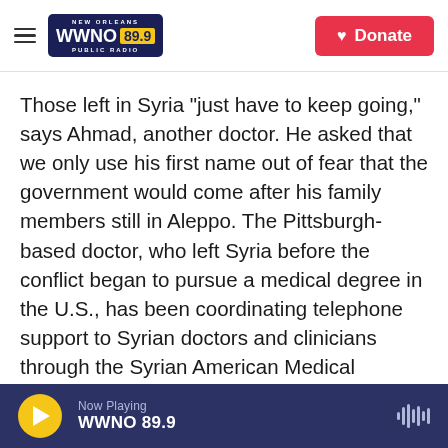[Figure (logo): WWNO 89.9 New Orleans Public Radio logo with hamburger menu and Donate button]
Those left in Syria "just have to keep going," says Ahmad, another doctor. He asked that we only use his first name out of fear that the government would come after his family members still in Aleppo. The Pittsburgh-based doctor, who left Syria before the conflict began to pursue a medical degree in the U.S., has been coordinating telephone support to Syrian doctors and clinicians through the Syrian American Medical Association.
Over the past few days, Ahmad has been brainstorming with a couple of surgeons and a few
Now Playing WWNO 89.9